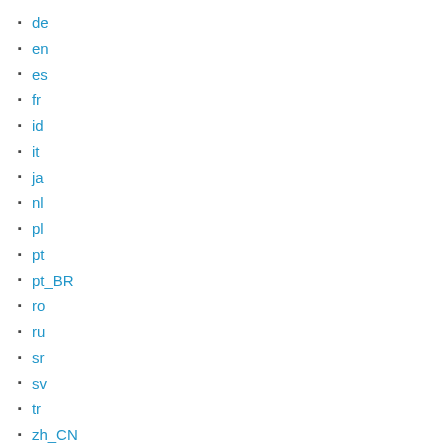de
en
es
fr
id
it
ja
nl
pl
pt
pt_BR
ro
ru
sr
sv
tr
zh_CN
In other sections:
manpath(5)